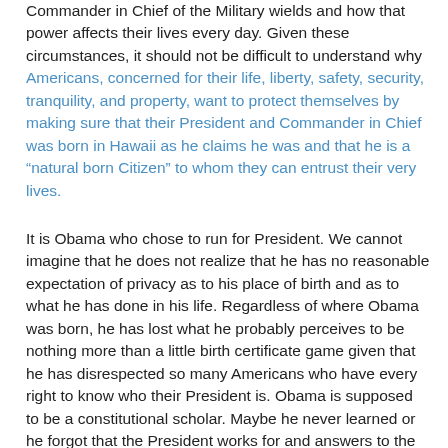Commander in Chief of the Military wields and how that power affects their lives every day. Given these circumstances, it should not be difficult to understand why Americans, concerned for their life, liberty, safety, security, tranquility, and property, want to protect themselves by making sure that their President and Commander in Chief was born in Hawaii as he claims he was and that he is a “natural born Citizen” to whom they can entrust their very lives.
It is Obama who chose to run for President. We cannot imagine that he does not realize that he has no reasonable expectation of privacy as to his place of birth and as to what he has done in his life. Regardless of where Obama was born, he has lost what he probably perceives to be nothing more than a little birth certificate game given that he has disrespected so many Americans who have every right to know who their President is. Obama is supposed to be a constitutional scholar. Maybe he never learned or he forgot that the President works for and answers to the people who under our Constitutional Republic are the sovereigns. Obama’s refusal to provide basic credible information